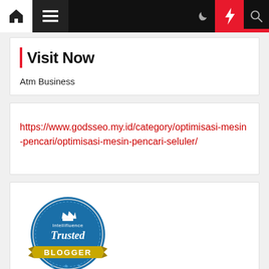Navigation bar with home, hamburger menu, moon, bolt, search icons
Visit Now
Atm Business
https://www.godsseo.my.id/category/optimisasi-mesin-pencari/optimisasi-mesin-pencari-seluler/
[Figure (logo): Intellifluence Trusted Blogger badge - circular blue badge with gold ribbon banner]